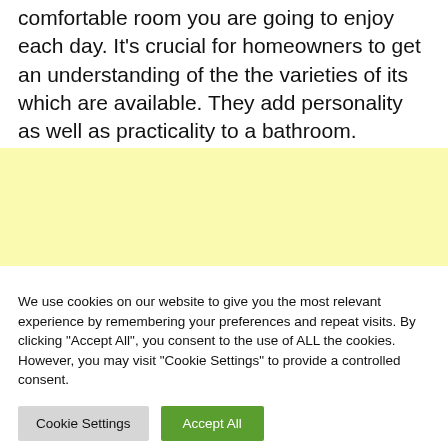comfortable room you are going to enjoy each day. It's crucial for homeowners to get an understanding of the the varieties of its which are available. They add personality as well as practicality to a bathroom.
[Figure (other): Yellow/cream colored advertisement banner placeholder]
We use cookies on our website to give you the most relevant experience by remembering your preferences and repeat visits. By clicking "Accept All", you consent to the use of ALL the cookies. However, you may visit "Cookie Settings" to provide a controlled consent.